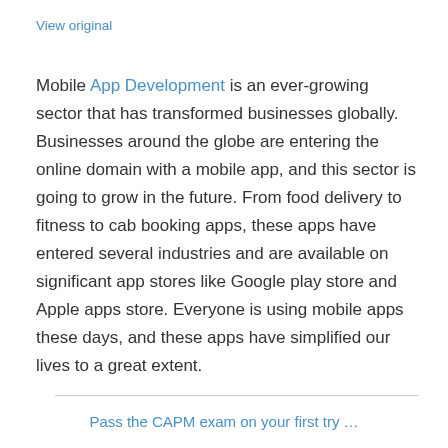View original
Mobile App Development is an ever-growing sector that has transformed businesses globally. Businesses around the globe are entering the online domain with a mobile app, and this sector is going to grow in the future. From food delivery to fitness to cab booking apps, these apps have entered several industries and are available on significant app stores like Google play store and Apple apps store. Everyone is using mobile apps these days, and these apps have simplified our lives to a great extent.
Pass the CAPM exam on your first try …